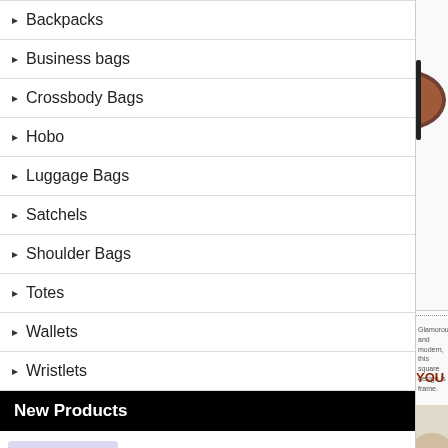Backpacks
Business bags
Crossbody Bags
Hobo
Luggage Bags
Satchels
Shoulder Bags
Totes
Wallets
Wristlets
New Products
[Figure (photo): Coach Bleecker Logo Charm Medium Purple Satchels DWO product photo]
Coach Bleecker Logo Charm Medium Purple Satchels DWO
$248.00
[Figure (photo): Sunglasses product photo - square frame dark tortoise design]
Glamorous and modern, this square design is frame.
YOU MAY ALSO LIKE
[Figure (photo): Another product photo partially visible at bottom right]